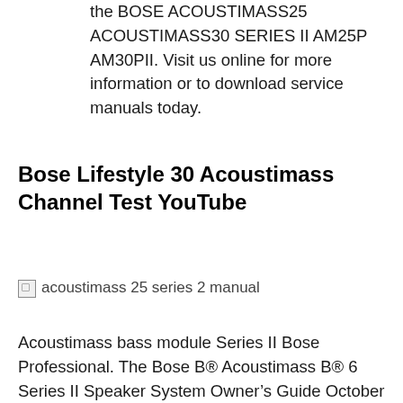the BOSE ACOUSTIMASS25 ACOUSTIMASS30 SERIES II AM25P AM30PII. Visit us online for more information or to download service manuals today.
Bose Lifestyle 30 Acoustimass Channel Test YouTube
[Figure (photo): Broken image placeholder with alt text: acoustimass 25 series 2 manual]
Acoustimass bass module Series II Bose Professional. The Bose B® Acoustimass B® 6 Series II Speaker System Owner's Guide October 29, 2001 AM252172_02_V.pdf. 2 October 29, 2001 AM25212_02_V.pdf Safety